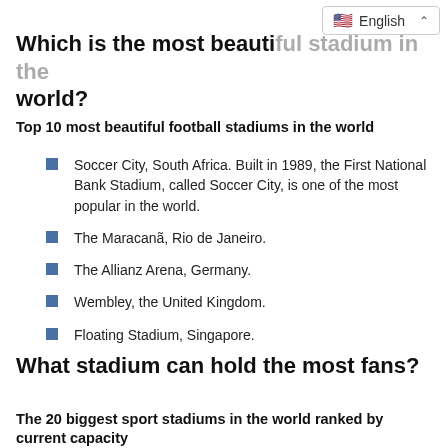English
Which is the most beautiful stadium in the world?
Top 10 most beautiful football stadiums in the world
Soccer City, South Africa. Built in 1989, the First National Bank Stadium, called Soccer City, is one of the most popular in the world.
The Maracanã, Rio de Janeiro.
The Allianz Arena, Germany.
Wembley, the United Kingdom.
Floating Stadium, Singapore.
What stadium can hold the most fans?
The 20 biggest sport stadiums in the world ranked by current capacity